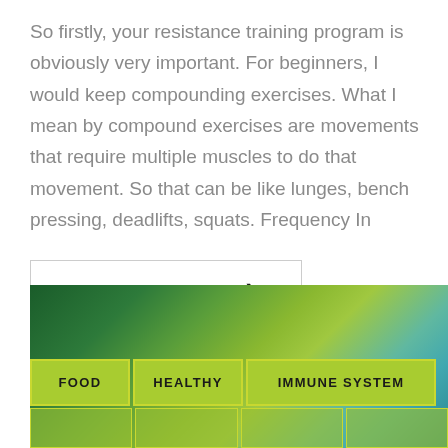So firstly, your resistance training program is obviously very important. For beginners, I would keep compounding exercises. What I mean by compound exercises are movements that require multiple muscles to do that movement. So that can be like lunges, bench pressing, deadlifts, squats. Frequency In
CONTINUE READING ❯
[Figure (infographic): Green-teal gradient background image with tag/category labels: FOOD, HEALTHY, IMMUNE SYSTEM in yellow-green rectangular boxes arranged in a grid pattern at the bottom of the image.]